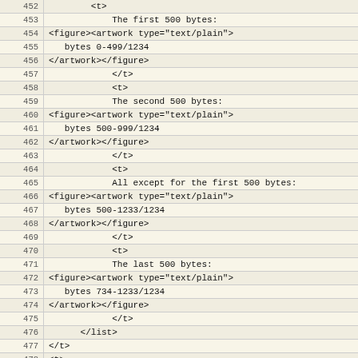Code listing lines 452-481 showing XML/HTTP content with line numbers